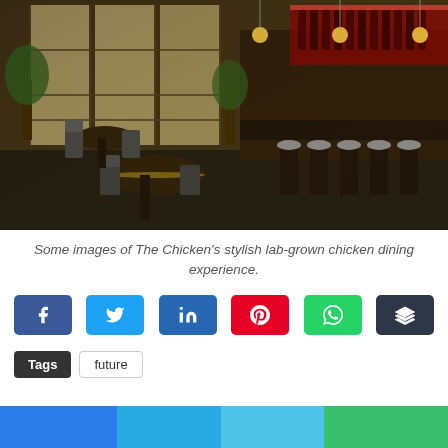[Figure (photo): Interior of The Chicken restaurant showing a stylish dining area with round tables, dark chairs, bar stools along a counter, large windows with grid frames, pendant lights, and shelves with wine bottles.]
Some images of The Chicken's stylish lab-grown chicken dining experience.
[Figure (infographic): Row of social media share buttons: Facebook (blue), Twitter (light blue), LinkedIn (dark blue), Pinterest (red), WhatsApp (green), Buffer (dark grey).]
Tags   future